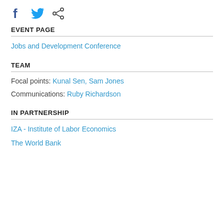[Figure (other): Social media icons: Facebook, Twitter, Share]
EVENT PAGE
Jobs and Development Conference
TEAM
Focal points: Kunal Sen, Sam Jones
Communications: Ruby Richardson
IN PARTNERSHIP
IZA - Institute of Labor Economics
The World Bank